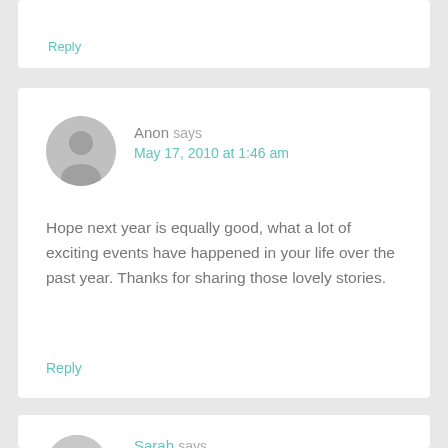Reply
Anon says
May 17, 2010 at 1:46 am
Hope next year is equally good, what a lot of exciting events have happened in your life over the past year. Thanks for sharing those lovely stories.
Reply
Sarah says